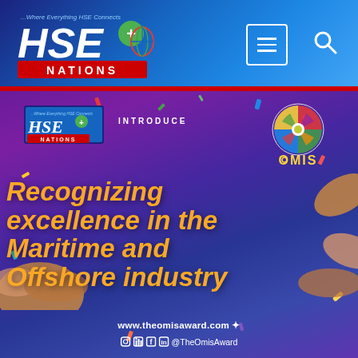[Figure (logo): HSE Nations logo in blue gradient navigation header with hamburger menu and search icon]
[Figure (infographic): HSE Nations introduce OMIS award banner with compass logo, text 'Recognizing excellence in the Maritime and Offshore industry', hands reaching, confetti, website www.theomisaward.com and social handle @TheOmisAward]